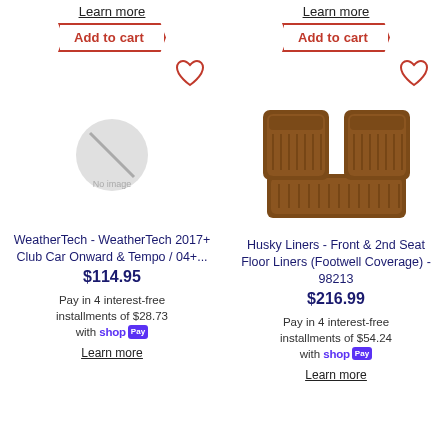Learn more
Add to cart
[Figure (illustration): Heart/wishlist icon outline]
[Figure (photo): No image placeholder circle with slash]
WeatherTech - WeatherTech 2017+ Club Car Onward & Tempo / 04+...
$114.95
Pay in 4 interest-free installments of $28.73 with Shop Pay
Learn more
Learn more
Add to cart
[Figure (illustration): Heart/wishlist icon outline]
[Figure (photo): Brown car floor mat set - front and rear liners]
Husky Liners - Front & 2nd Seat Floor Liners (Footwell Coverage) - 98213
$216.99
Pay in 4 interest-free installments of $54.24 with Shop Pay
Learn more